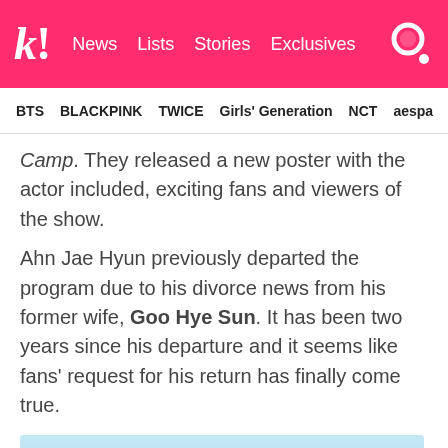k! News  Lists  Stories  Exclusives
BTS  BLACKPINK  TWICE  Girls' Generation  NCT  aespa
Camp. They released a new poster with the actor included, exciting fans and viewers of the show.
Ahn Jae Hyun previously departed the program due to his divorce news from his former wife, Goo Hye Sun. It has been two years since his departure and it seems like fans' request for his return has finally come true.
[Figure (photo): Korean TV show promotional image with text '신서유기 멤버들 티빙 상록!' on a light blue sky background with clouds and landscape elements]